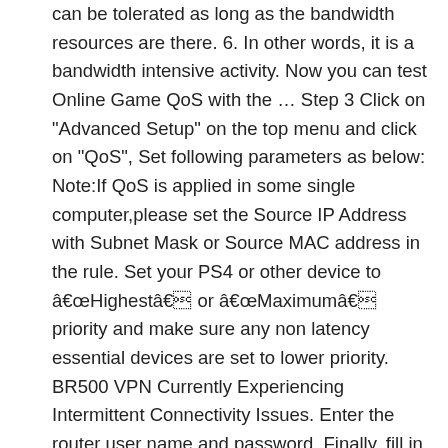can be tolerated as long as the bandwidth resources are there. 6. In other words, it is a bandwidth intensive activity. Now you can test Online Game QoS with the … Step 3 Click on "Advanced Setup" on the top menu and click on "QoS", Set following parameters as below: Note:If QoS is applied in some single computer,please set the Source IP Address with Subnet Mask or Source MAC address in the rule. Set your PS4 or other device to âHighestâ or âMaximumâ priority and make sure any non latency essential devices are set to lower priority. BR500 VPN Currently Experiencing Intermittent Connectivity Issues. Enter the router user name and password. Finally, fill in the downlink and uplink values. Step 3: Select the QoS type. Click Setup QoS rule > Add Priority Rule. how would it know what upload speed to use if its of? 4. The QoS screen will show up on the screen. At the bottom of the page is a "SETUP QOS RULE" link which brings you to another page where you can delete or edit 30 QOS priorities that are already seeminlgly in place and where you can create new priorities. High Priority Device QoS Settings 1. Here are the more detailed steps to set up QoS below; the specifics will obviously vary with with your router make and model. Home; Uncategorized; how to setup qos for gaming; November 11, 2020 Click on the Set Up QoS Rule button. Also if you have multiple games consoles in a house using the internet for online gaming, they can all be prioritised above other devices to ensure lag is